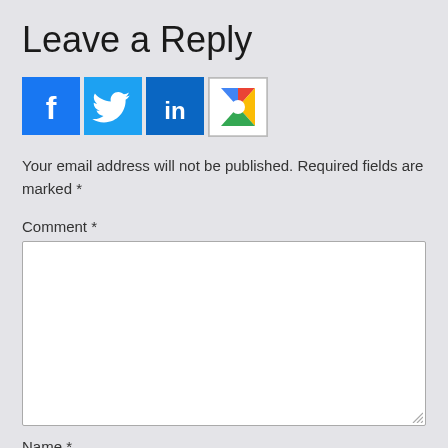Leave a Reply
[Figure (infographic): Row of four social login/share icons: Facebook (blue), Twitter (blue), LinkedIn (blue), Google+ (white with colorful logo)]
Your email address will not be published. Required fields are marked *
Comment *
Name *